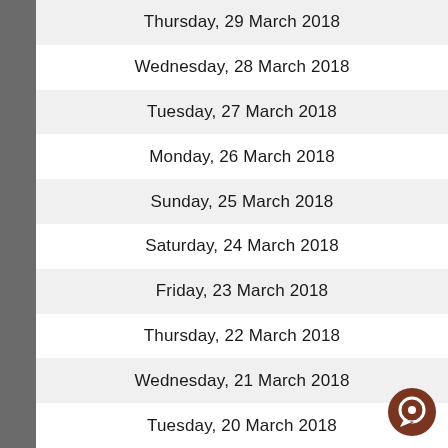Thursday, 29 March 2018
Wednesday, 28 March 2018
Tuesday, 27 March 2018
Monday, 26 March 2018
Sunday, 25 March 2018
Saturday, 24 March 2018
Friday, 23 March 2018
Thursday, 22 March 2018
Wednesday, 21 March 2018
Tuesday, 20 March 2018